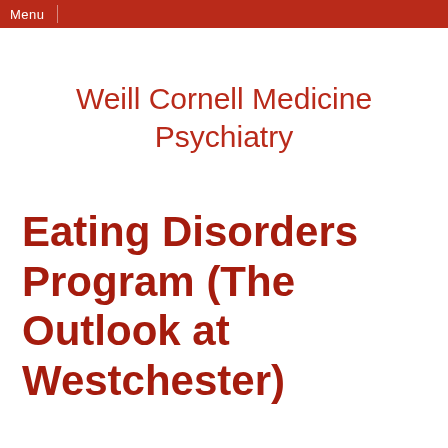Menu
Weill Cornell Medicine Psychiatry
Eating Disorders Program (The Outlook at Westchester)